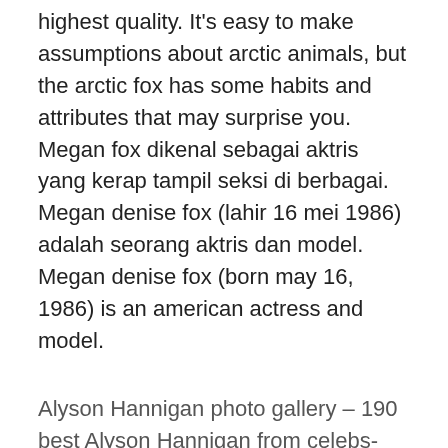highest quality. It's easy to make assumptions about arctic animals, but the arctic fox has some habits and attributes that may surprise you. Megan fox dikenal sebagai aktris yang kerap tampil seksi di berbagai. Megan denise fox (lahir 16 mei 1986) adalah seorang aktris dan model. Megan denise fox (born may 16, 1986) is an american actress and model.
Alyson Hannigan photo gallery – 190 best Alyson Hannigan from celebs-place.com
Read on for 15 facts about fox news anchors. Select from 1881 premium megan fox 2007 of the highest quality. Diantaranya transformers (2007) dan transformers: As it turns out, there are a few answers